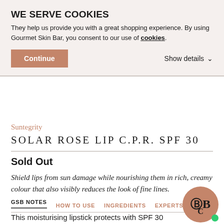WE SERVE COOKIES
They help us provide you with a great shopping experience. By using Gourmet Skin Bar, you consent to our use of cookies.
Continue
Show details
Suntegrity
SOLAR ROSE LIP C.P.R. SPF 30
Sold Out
Shield lips from sun damage while nourishing them in rich, creamy colour that also visibly reduces the look of fine lines.
GSB NOTES   HOW TO USE   INGREDIENTS   EXPERTS
This moisturising lipstick protects with SPF 30 and